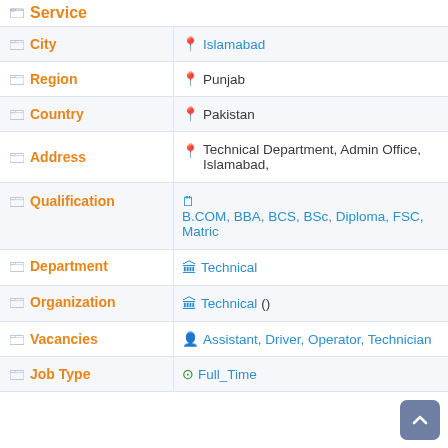Service
| Field | Value |
| --- | --- |
| City | Islamabad |
| Region | Punjab |
| Country | Pakistan |
| Address | Technical Department, Admin Office, Islamabad, |
| Qualification | B.COM, BBA, BCS, BSc, Diploma, FSC, Matric |
| Department | Technical |
| Organization | Technical () |
| Vacancies | Assistant, Driver, Operator, Technician |
| Job Type | Full_Time |